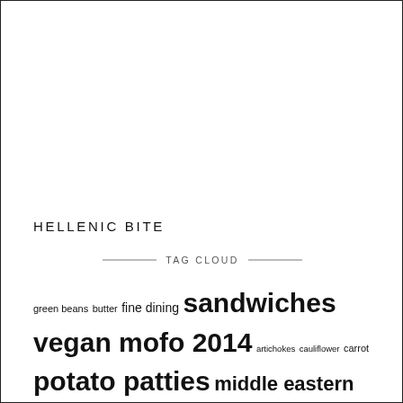HELLENIC BITE
TAG CLOUD
green beans butter fine dining sandwiches vegan mofo 2014 artichokes cauliflower carrot potato patties middle eastern garden asian beetroot vegan mofo 2015 winter pastry cheese chilli brussels sprouts pasta snacks japanese sweet pancakes cake zucchini capsicum greens vietnamese savoury